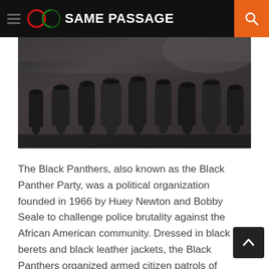SAME PASSAGE
[Figure (photo): Black and white photograph showing a group of people marching or gathering, wearing berets and dark clothing, likely Black Panther Party members]
The Black Panthers, also known as the Black Panther Party, was a political organization founded in 1966 by Huey Newton and Bobby Seale to challenge police brutality against the African American community. Dressed in black berets and black leather jackets, the Black Panthers organized armed citizen patrols of Oakland and other U.S. cities. At its peak in 1968, the Black Panther Party had roughly 2,000 members. The organization later declined as a result of internal tensions, deadly shootouts and FBI counterintelligence activities aimed at weakening the organization.